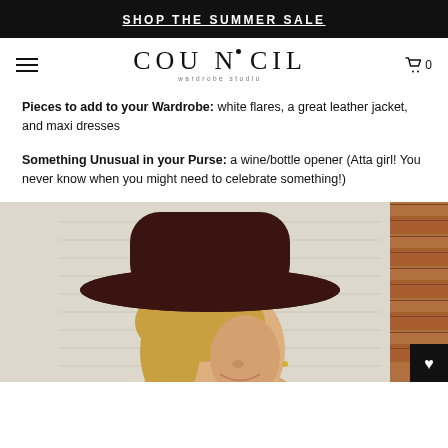SHOP THE SUMMER SALE
[Figure (logo): COUNCIL wardrobe studio logo with decorative dots]
Pieces to add to your Wardrobe: white flares, a great leather jacket, and maxi dresses
Something Unusual in your Purse: a wine/bottle opener (Atta girl! You never know when you might need to celebrate something!)
[Figure (photo): Woman wearing a wide-brim dark burgundy/brown felt hat, blonde hair, smiling, against a white shiplap wall with brick visible on the right side. Wishlist heart button in bottom right corner.]